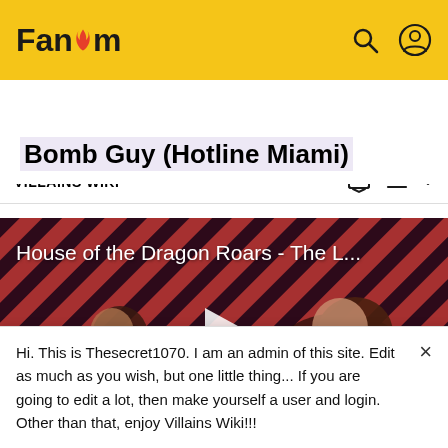Fandom
VILLAINS WIKI
Bomb Guy (Hotline Miami)
[Figure (screenshot): Video thumbnail for 'House of the Dragon Roars - The L...' showing two characters against a diagonal striped red and dark background, with a white play button in the center.]
Hi. This is Thesecret1070. I am an admin of this site. Edit as much as you wish, but one little thing... If you are going to edit a lot, then make yourself a user and login. Other than that, enjoy Villains Wiki!!!